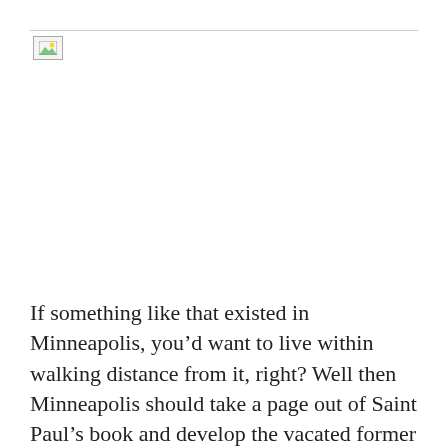[Figure (photo): Small broken/placeholder image icon in the upper left corner of the page, below a thin horizontal rule.]
If something like that existed in Minneapolis, you’d want to live within walking distance from it, right? Well then Minneapolis should take a page out of Saint Paul’s book and develop the vacated former Farmer’s Market site into the first new residential